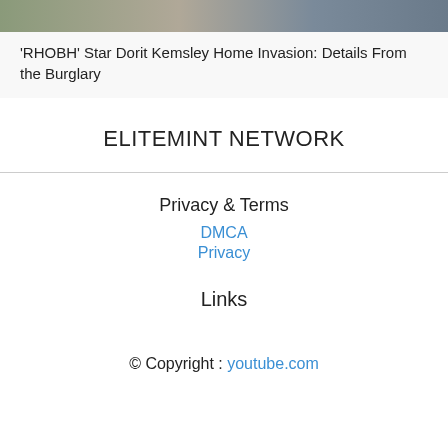[Figure (photo): Partial image strip at top of page showing outdoor scene]
'RHOBH' Star Dorit Kemsley Home Invasion: Details From the Burglary
ELITEMINT NETWORK
Privacy & Terms
DMCA
Privacy
Links
© Copyright : youtube.com